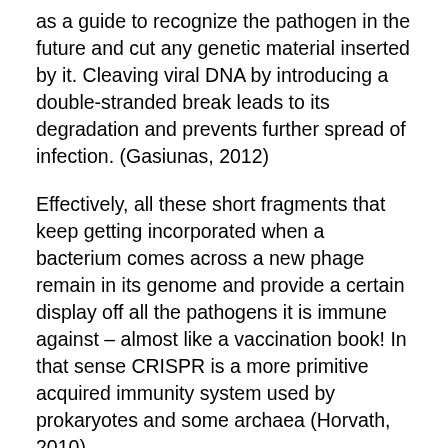as a guide to recognize the pathogen in the future and cut any genetic material inserted by it. Cleaving viral DNA by introducing a double-stranded break leads to its degradation and prevents further spread of infection. (Gasiunas, 2012)
Effectively, all these short fragments that keep getting incorporated when a bacterium comes across a new phage remain in its genome and provide a certain display off all the pathogens it is immune against – almost like a vaccination book! In that sense CRISPR is a more primitive acquired immunity system used by prokaryotes and some archaea (Horvath, 2010).
Naturally the human body fights viral infections by recognizing the pathogen, producing antibodies in the B cells that will bind to the virus and prevent it from